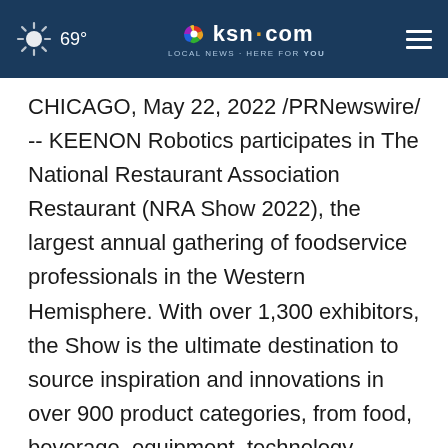69° ksn.com LOCAL NEWS · HERE FOR YOU
CHICAGO, May 22, 2022 /PRNewswire/ -- KEENON Robotics participates in The National Restaurant Association Restaurant (NRA Show 2022), the largest annual gathering of foodservice professionals in the Western Hemisphere. With over 1,300 exhibitors, the Show is the ultimate destination to source inspiration and innovations in over 900 product categories, from food, beverage, equipment, technology, tableware, sanitation, and everything in between. The show attracts